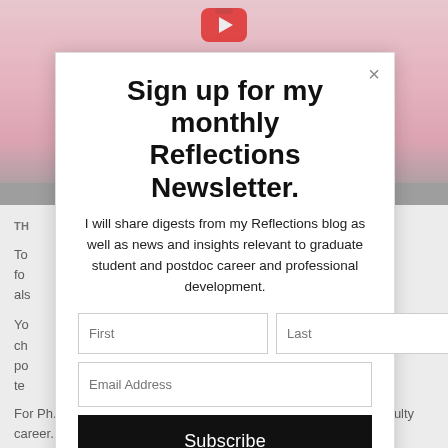[Figure (illustration): Cherry blossom background image with pink flowers and a YouTube play button icon at the top center, partially visible behind a modal dialog. Background article text is partially visible on sides.]
Sign up for my monthly Reflections Newsletter.
I will share digests from my Reflections blog as well as news and insights relevant to graduate student and postdoc career and professional development.
First | Last | Email Address | Subscribe
For Ph.D.s, it is hard to dismiss the "typical" path of pursuing a faculty career. However, you really need to decide if you want the lifestyle